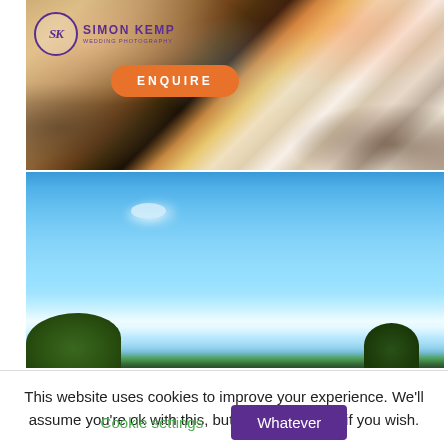[Figure (photo): Wedding reception photo with guests celebrating, flower arrangements, and bottles on table. Simon Kemp Wedding Photography logo in top left with an orange ENQUIRE button overlay.]
[Figure (photo): Outdoor landscape photo showing a bright blue sky with a small cloud, green trees along the bottom edge.]
This website uses cookies to improve your experience. We'll assume you're ok with this, but you can opt-out if you wish.
Cookie settings
Whatever